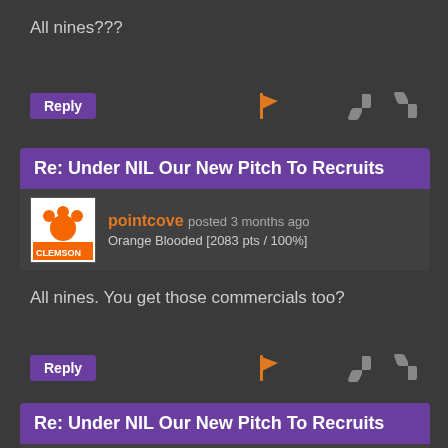All nines???
Reply [flag] [thumbs down] [thumbs up]
Re: Under NIL Our New Pitch To Recruits
pointcove posted 3 months ago
Orange Blooded [2083 pts / 100%]
All nines. You get those commercials too?
Reply [flag] [thumbs down] [thumbs up]
Re: Under NIL Our New Pitch To Recruits
rhettfla posted 3 months ago
110%er [6324 pts / 100%]
Oh yea. Out of Greenville.